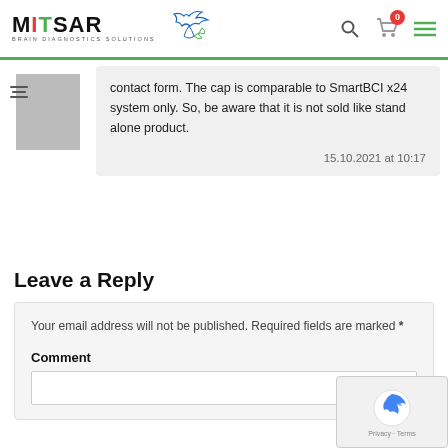[Figure (logo): MITSAR Brain Diagnostics Solutions logo with bird/dove and green branch]
contact form. The cap is comparable to SmartBCI x24 system only. So, be aware that it is not sold like stand alone product.
15.10.2021 at 10:17
Leave a Reply
Your email address will not be published. Required fields are marked *
Comment